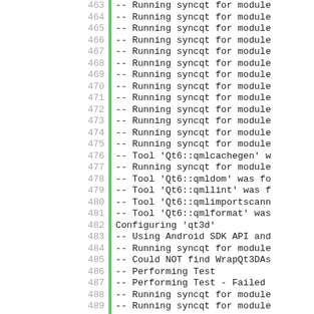463  -- Running syncqt for module
464  -- Running syncqt for module
465  -- Running syncqt for module
466  -- Running syncqt for module
467  -- Running syncqt for module
468  -- Running syncqt for module
469  -- Running syncqt for module
470  -- Running syncqt for module
471  -- Running syncqt for module
472  -- Running syncqt for module
473  -- Running syncqt for module
474  -- Running syncqt for module
475  -- Running syncqt for module
476  -- Tool 'Qt6::qmlcachegen' w
477  -- Running syncqt for module
478  -- Tool 'Qt6::qmldom' was fo
479  -- Tool 'Qt6::qmllint' was f
480  -- Tool 'Qt6::qmlimportscanr
481  -- Tool 'Qt6::qmlformat' was
482  Configuring 'qt3d'
483  -- Using Android SDK API and
484  -- Running syncqt for module
485  -- Could NOT find WrapQt3DAs
486  -- Performing Test
487  -- Performing Test  - Failed
488  -- Running syncqt for module
489  -- Running syncqt for module
490  -- Running syncqt for module
491  -- Could NOT find Vulkan (mi
492  Running syncqt for modu